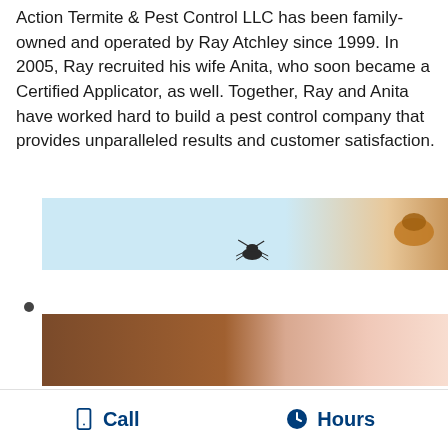Action Termite & Pest Control LLC has been family-owned and operated by Ray Atchley since 1999. In 2005, Ray recruited his wife Anita, who soon became a Certified Applicator, as well. Together, Ray and Anita have worked hard to build a pest control company that provides unparalleled results and customer satisfaction.
[Figure (photo): A partially visible banner image with a light blue background showing insects (cockroach visible on right side) — likely a pest control promotional banner, cropped at top of view.]
[Figure (photo): A partially visible image showing a brown wooden surface on the left transitioning to a skin-toned area on the right — possibly a person inspecting wood for pest damage.]
Call   Hours